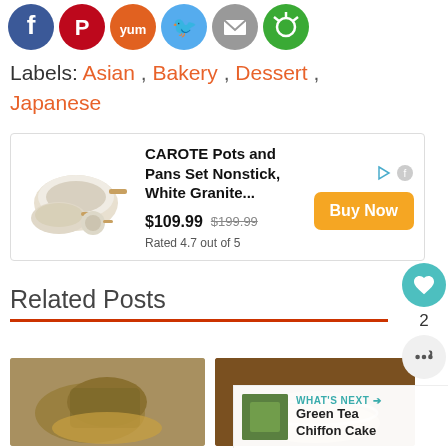[Figure (other): Social media share icons: Facebook (blue), Pinterest (red), Yummly (orange), Twitter (light blue), Email (gray), another circular icon (green)]
Labels: Asian , Bakery , Dessert , Japanese
[Figure (other): Advertisement: CAROTE Pots and Pans Set Nonstick, White Granite... $109.99 (was $199.99), Rated 4.7 out of 5, with Buy Now button]
Related Posts
[Figure (photo): Thumbnail of wrapped food items (rice dumplings) in a bamboo basket]
[Figure (photo): Thumbnail of a bowl with soup or stew]
WHAT'S NEXT → Green Tea Chiffon Cake